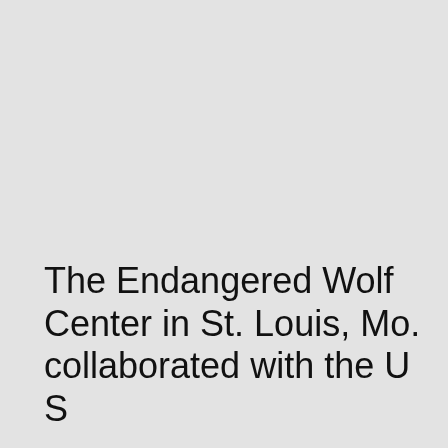[Figure (photo): Large image area taking up the upper portion of the page, shown as a grey placeholder.]
The Endangered Wolf Center in St. Louis, Mo. collaborated with the U S